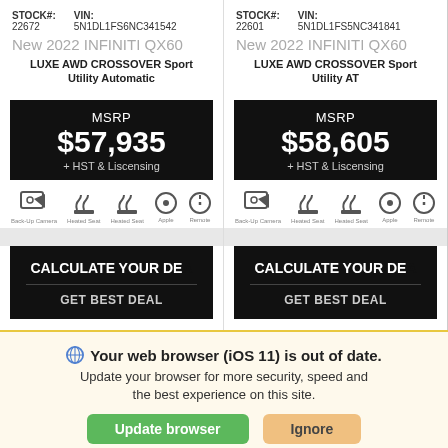STOCK#: 22672  VIN: 5N1DL1FS6NC341542
New 2022 INFINITI QX60
LUXE AWD CROSSOVER Sport Utility Automatic
MSRP $57,935
+ HST & Liscensing
STOCK#: 22601  VIN: 5N1DL1FS5NC341841
New 2022 INFINITI QX60
LUXE AWD CROSSOVER Sport Utility AT
MSRP $58,605
+ HST & Liscensing
CALCULATE YOUR DEAL
GET BEST DEAL
CALCULATE YOUR DEAL
GET BEST DEAL
Your web browser (iOS 11) is out of date. Update your browser for more security, speed and the best experience on this site.